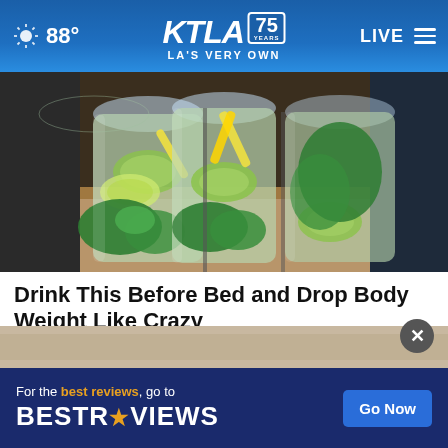KTLA 75 YEARS - LA'S VERY OWN | 88° | LIVE
[Figure (photo): Three large glass bottles filled with water, cucumber slices, lemon slices, and mint leaves — infused water for weight loss]
Drink This Before Bed and Drop Body Weight Like Crazy
Health
[Figure (photo): Partial preview of a secondary article image below the main article]
For the best reviews, go to BESTREVIEWS | Go Now